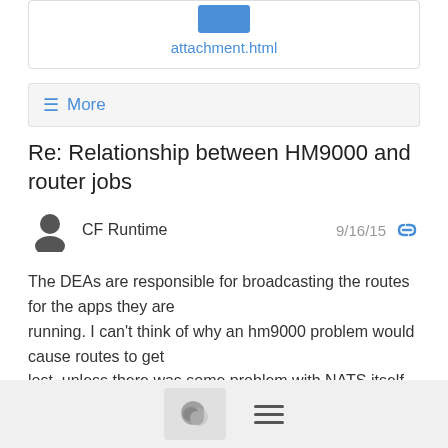[Figure (other): Attachment file icon (blue rectangle) with link label attachment.html below it, inside a bordered box]
≡ More
Re: Relationship between HM9000 and router jobs
CF Runtime   9/16/15
The DEAs are responsible for broadcasting the routes for the apps they are
running. I can't think of why an hm9000 problem would cause routes to get
lost, unless there was some problem with NATS itself.
Joseph
OSS Release Integration Team